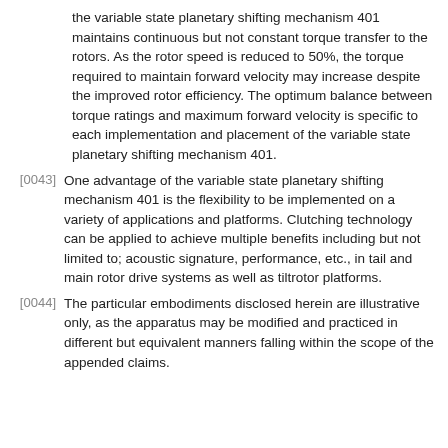the variable state planetary shifting mechanism 401 maintains continuous but not constant torque transfer to the rotors. As the rotor speed is reduced to 50%, the torque required to maintain forward velocity may increase despite the improved rotor efficiency. The optimum balance between torque ratings and maximum forward velocity is specific to each implementation and placement of the variable state planetary shifting mechanism 401.
[0043] One advantage of the variable state planetary shifting mechanism 401 is the flexibility to be implemented on a variety of applications and platforms. Clutching technology can be applied to achieve multiple benefits including but not limited to; acoustic signature, performance, etc., in tail and main rotor drive systems as well as tiltrotor platforms.
[0044] The particular embodiments disclosed herein are illustrative only, as the apparatus may be modified and practiced in different but equivalent manners falling within the scope of the appended claims.